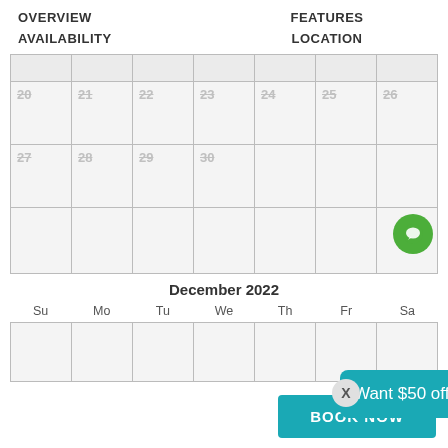OVERVIEW   FEATURES   AVAILABILITY   LOCATION
[Figure (screenshot): A booking availability calendar showing November/December 2022, with past dates (20–30 November) crossed out in gray. A green chat bubble icon appears in the lower-right corner. A teal promotional banner says 'Want $50 off your booking?' with an X dismiss button. A 'BOOK NOW' button appears at the bottom right.]
December 2022
Want $50 off your booking?
BOOK NOW